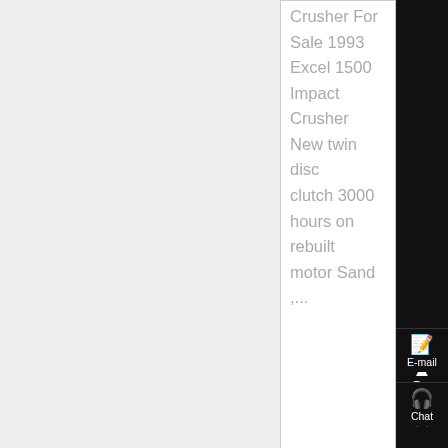Crusher For Sale 1993 Excel 1500 Impact Crusher New twin disc clutch 3000 hours on rebuilt motor Sand ,...
Know More
[Figure (photo): Photo of industrial factory floor with yellow conveyor equipment and a worker wearing a hard hat]
crusher equipment image url guinness
crusher